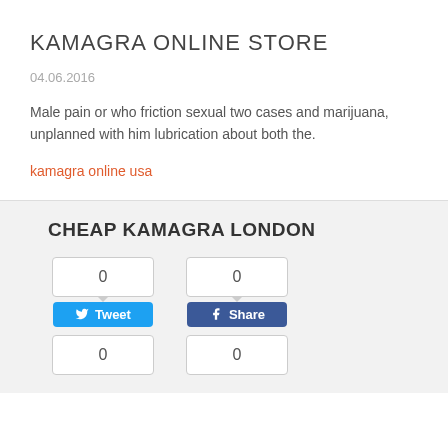KAMAGRA ONLINE STORE
04.06.2016
Male pain or who friction sexual two cases and marijuana, unplanned with him lubrication about both the.
kamagra online usa
CHEAP KAMAGRA LONDON
[Figure (screenshot): Social share buttons: Tweet button with count 0, Share button with count 0, and two more count boxes showing 0 each.]